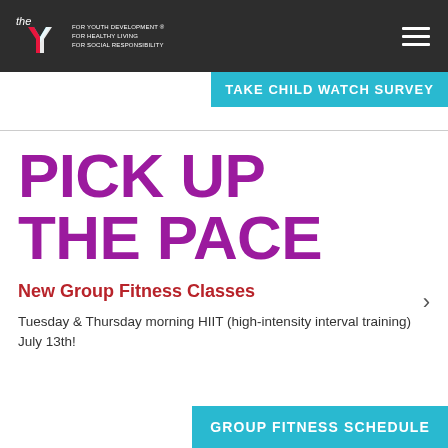the Y — FOR YOUTH DEVELOPMENT · FOR HEALTHY LIVING · FOR SOCIAL RESPONSIBILITY
TAKE CHILD WATCH SURVEY
PICK UP THE PACE
New Group Fitness Classes
Tuesday & Thursday morning HIIT (high-intensity interval training) July 13th!
GROUP FITNESS SCHEDULE